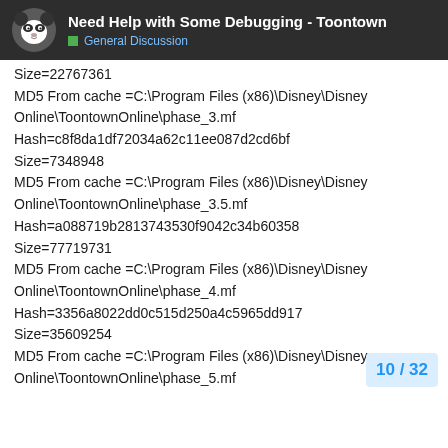Need Help with Some Debugging - Toontown | General Discussion
Size=22767361
MD5 From cache =C:\Program Files (x86)\Disney\Disney Online\ToontownOnline\phase_3.mf
Hash=c8f8da1df72034a62c11ee087d2cd6bf
Size=7348948
MD5 From cache =C:\Program Files (x86)\Disney\Disney Online\ToontownOnline\phase_3.5.mf
Hash=a088719b2813743530f9042c34b60358
Size=77719731
MD5 From cache =C:\Program Files (x86)\Disney\Disney Online\ToontownOnline\phase_4.mf
Hash=3356a8022dd0c515d250a4c5965dd917
Size=35609254
MD5 From cache =C:\Program Files (x86)\Disney\Disney Online\ToontownOnline\phase_5.mf
10 / 32